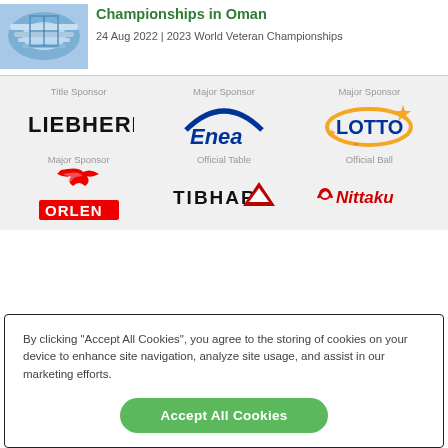[Figure (photo): Aerial photo of a stadium or arena with blue/white architectural features]
Championships in Oman
24 Aug 2022 | 2023 World Veteran Championships
[Figure (logo): Liebherr logo - Title Sponsor]
[Figure (logo): Enea logo - Major Sponsor]
[Figure (logo): Lotto logo - Major Sponsor]
[Figure (logo): Orlen logo - Major Sponsor]
[Figure (logo): Tibhar logo - Official Table]
[Figure (logo): Nittaku logo - Official Ball]
By clicking "Accept All Cookies", you agree to the storing of cookies on your device to enhance site navigation, analyze site usage, and assist in our marketing efforts.
Accept All Cookies